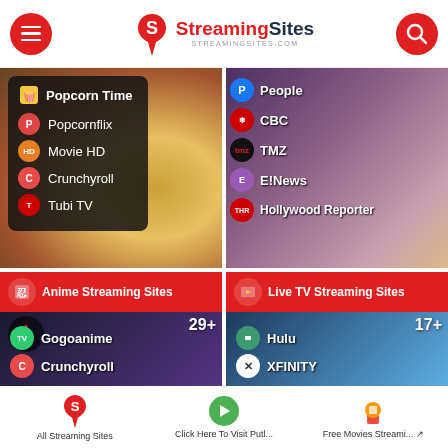StreamingSites - STREAMINGSITES.COM
[Figure (screenshot): Popcorn Time streaming category card with menu showing Popcornflix, Movie HD, Crunchyroll, Tubi TV]
[Figure (screenshot): Celebrity/entertainment news card showing People, CBC, TMZ, E!News, Hollywood Reporter]
[Figure (screenshot): Anime Streaming Sites card with 29+ count, showing Gogoanime and Crunchyroll]
[Figure (screenshot): Live TV Streaming Sites card with 17+ count, showing Hulu and XFINITY]
All Streaming Sites   Click Here To Visit Putl...   Free Movies Streami... [external link icon]